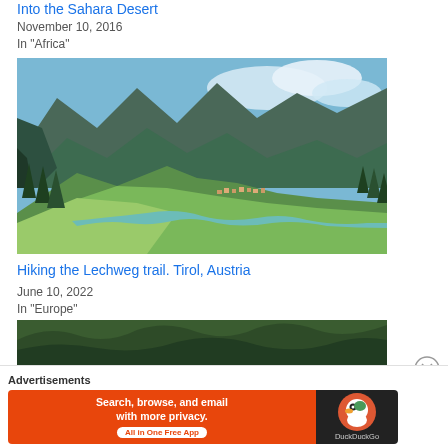Into the Sahara Desert
November 10, 2016
In "Africa"
[Figure (photo): Aerial view of Alpine valley with green meadows, pine forests, a river, a village and tall mountain peaks in summer. Tirol, Austria.]
Hiking the Lechweg trail. Tirol, Austria
June 10, 2022
In "Europe"
[Figure (photo): Partial view of another outdoor/nature photo, cropped at bottom of page.]
Advertisements
[Figure (other): DuckDuckGo advertisement banner: 'Search, browse, and email with more privacy. All in One Free App']